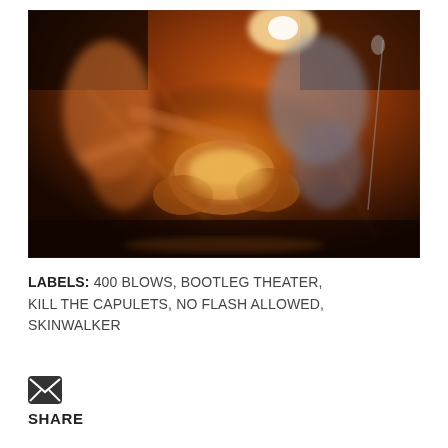[Figure (photo): Motion-blurred concert photo showing musicians performing on stage with drums and guitars, lit with warm orange and amber stage lighting against a dark background.]
LABELS: 400 BLOWS, BOOTLEG THEATER, KILL THE CAPULETS, NO FLASH ALLOWED, SKINWALKER
[Figure (other): Email/envelope icon (dark rounded square with envelope symbol)]
SHARE